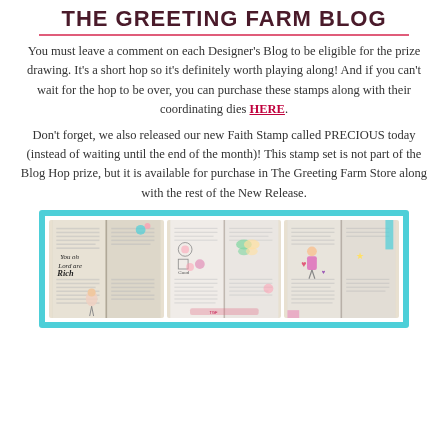THE GREETING FARM BLOG
You must leave a comment on each Designer's Blog to be eligible for the prize drawing. It's a short hop so it's definitely worth playing along! And if you can't wait for the hop to be over, you can purchase these stamps along with their coordinating dies HERE.
Don't forget, we also released our new Faith Stamp called PRECIOUS today (instead of waiting until the end of the month)! This stamp set is not part of the Blog Hop prize, but it is available for purchase in The Greeting Farm Store along with the rest of the New Release.
[Figure (photo): Three decorative Bible journaling pages shown in a teal-framed collage. Left image shows an open Bible with handwritten 'You oh Lord are Rich in Love' and illustrated figure. Center shows open Bible with stamps and colorful embellishments. Right shows open Bible with a girl figure and pink/purple embellishments.]